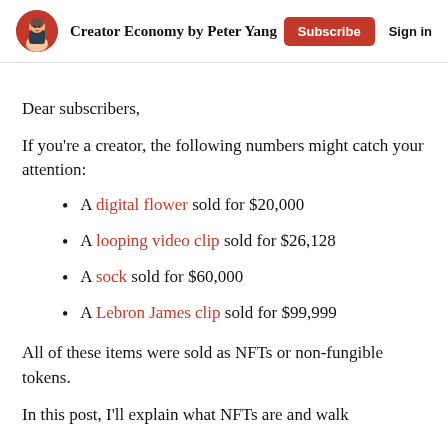Creator Economy by Peter Yang  Subscribe  Sign in
Dear subscribers,
If you're a creator, the following numbers might catch your attention:
A digital flower sold for $20,000
A looping video clip sold for $26,128
A sock sold for $60,000
A Lebron James clip sold for $99,999
All of these items were sold as NFTs or non-fungible tokens.
In this post, I'll explain what NFTs are and walk